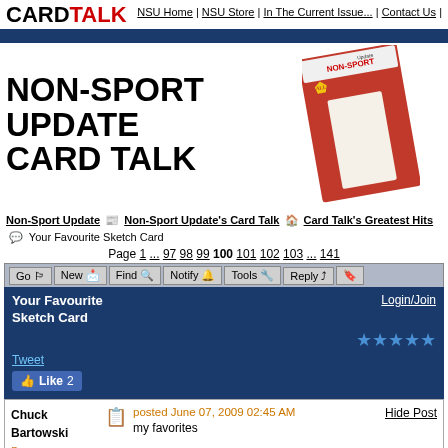CARD TALK | NSU Home | NSU Store | In The Current Issue... | Contact Us
[Figure (illustration): Non-Sport Update magazine cover featuring Elvis Presley with guitar, with large text NON-SPORT UPDATE CARD TALK overlay]
Non-Sport Update > Non-Sport Update's Card Talk > Card Talk's Greatest Hits > Your Favourite Sketch Card
Page 1 ... 97 98 99 100 101 102 103 ... 141
Go | New | Find | Notify | Tools | Reply
Your Favourite Sketch Card
Login/Join
Tweet
Like 2
Chuck Bartowski | Bronze Card Talk | posted June 07, 2009 02:45 AM | Hide Post | my favorites